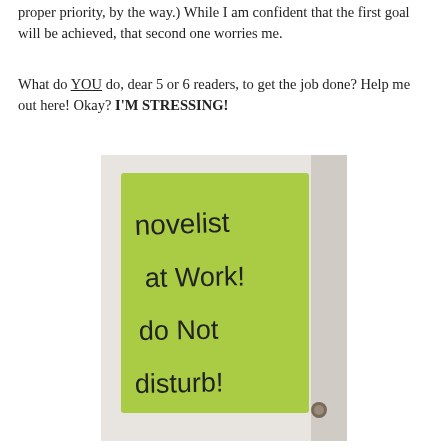proper priority, by the way.) While I am confident that the first goal will be achieved, that second one worries me.
What do YOU do, dear 5 or 6 readers, to get the job done? Help me out here! Okay? I'M STRESSING!
[Figure (photo): A green handwritten sign posted on a door that reads: 'Novelist at Work! do Not disturb!']